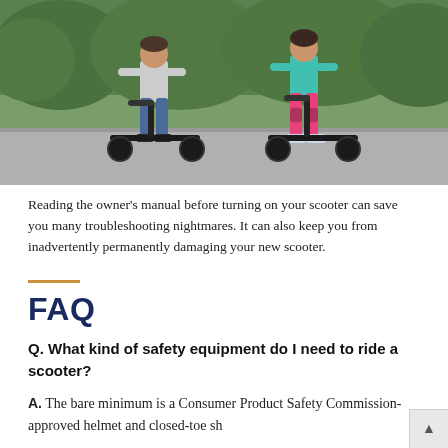[Figure (photo): Two people riding electric scooters on a path, with green hedges/trees in background. The rider on the left wears jeans and a grey hoodie; the rider on the right wears pink pants and a teal top with knee pads.]
Reading the owner's manual before turning on your scooter can save you many troubleshooting nightmares. It can also keep you from inadvertently permanently damaging your new scooter.
FAQ
Q. What kind of safety equipment do I need to ride a scooter?
A. The bare minimum is a Consumer Product Safety Commission-approved helmet and closed-toe sh…